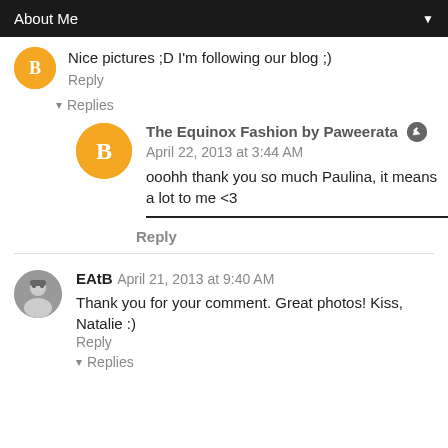About Me
Nice pictures ;D I'm following our blog ;)
Reply
Replies
The Equinox Fashion by Paweerata  April 22, 2013 at 3:44 AM
ooohh thank you so much Paulina, it means a lot to me <3
Reply
EAtB  April 21, 2013 at 9:40 AM
Thank you for your comment. Great photos! Kiss, Natalie :)
Reply
Replies